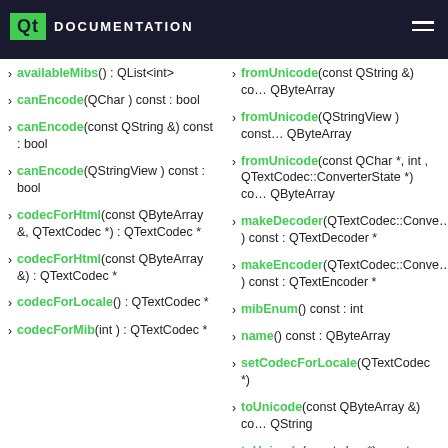Qt DOCUMENTATION
availableMibs() : QList<int>
canEncode(QChar ) const : bool
canEncode(const QString &) const : bool
canEncode(QStringView ) const : bool
codecForHtml(const QByteArray &, QTextCodec *) : QTextCodec *
codecForHtml(const QByteArray &) : QTextCodec *
codecForLocale() : QTextCodec *
codecForMib(int ) : QTextCodec *
fromUnicode(const QString &) const : QByteArray
fromUnicode(QStringView ) const : QByteArray
fromUnicode(const QChar *, int , QTextCodec::ConverterState *) const : QByteArray
makeDecoder(QTextCodec::ConverterState *) const : QTextDecoder *
makeEncoder(QTextCodec::ConverterState *) const : QTextEncoder *
mibEnum() const : int
name() const : QByteArray
setCodecForLocale(QTextCodec *)
toUnicode(const QByteArray &) const : QString
toUnicode(const char *) const : QString